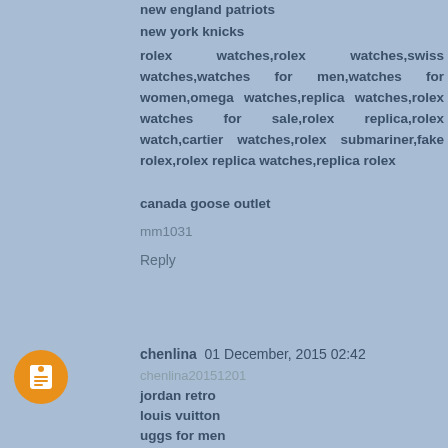new england patriots
new york knicks
rolex watches,rolex watches,swiss watches,watches for men,watches for women,omega watches,replica watches,rolex watches for sale,rolex replica,rolex watch,cartier watches,rolex submariner,fake rolex,rolex replica watches,replica rolex
canada goose outlet
mm1031
Reply
chenlina  01 December, 2015 02:42
chenlina20151201
jordan retro
louis vuitton
uggs for men
cheap uggs for sale
cheap uggs
oakley sunglasses
louis vuitton handbags
toms outlet